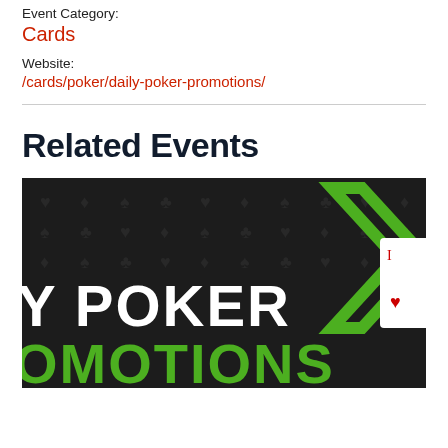Event Category:
Cards
Website:
/cards/poker/daily-poker-promotions/
Related Events
[Figure (photo): Dark background with playing card suit symbols pattern. Text reads 'Y POKER' and 'OMOTIONS' in white and green bold letters. A green geometric chevron shape and playing cards visible on the right side.]